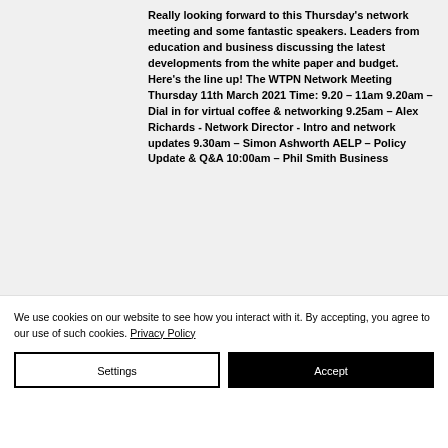Really looking forward to this Thursday's network meeting and some fantastic speakers. Leaders from education and business discussing the latest developments from the white paper and budget. Here's the line up! The WTPN Network Meeting Thursday 11th March 2021 Time: 9.20 – 11am 9.20am – Dial in for virtual coffee & networking 9.25am – Alex Richards - Network Director - Intro and network updates 9.30am – Simon Ashworth AELP – Policy Update & Q&A 10:00am – Phil Smith Business
We use cookies on our website to see how you interact with it. By accepting, you agree to our use of such cookies. Privacy Policy
Settings
Accept